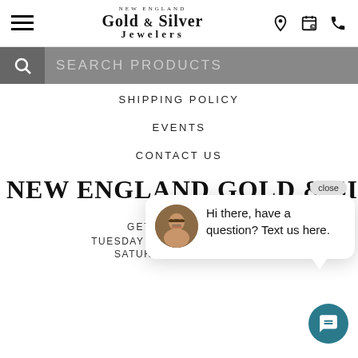[Figure (logo): New England Gold & Silver Jewelers logo with hamburger menu icon and header icons for location, calendar, and phone]
[Figure (screenshot): Search bar with magnifying glass icon and SEARCH PRODUCTS placeholder text]
SHIPPING POLICY
EVENTS
CONTACT US
NEW ENGLAND GOLD & SILVER
GET DIRECTIONS
TUESDAY - FRIDAY 10AM - 6PM
SATURDAY 10AM - 5PM
[Figure (screenshot): Chat popup with close button, avatar photo of a man with glasses, and message: Hi there, have a question? Text us here.]
[Figure (screenshot): Teal circular chat button with message icon]